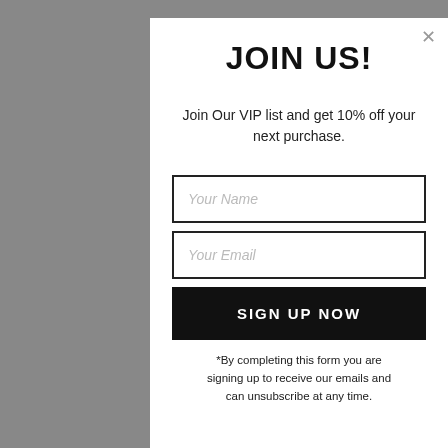JOIN US!
Join Our VIP list and get 10% off your next purchase.
[Figure (screenshot): Input field with placeholder text 'Your Name']
[Figure (screenshot): Input field with placeholder text 'Your Email']
SIGN UP NOW
*By completing this form you are signing up to receive our emails and can unsubscribe at any time.